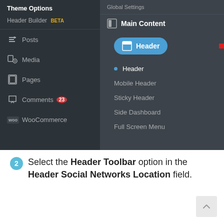[Figure (screenshot): WordPress admin sidebar showing Theme Options with Header Builder BETA, Posts, Media, Pages, Comments (23 badge), WooCommerce menu items on the left. Right panel shows Main Content section with Header button (highlighted in blue with red arrow pointing to it), and sub-items: Header (active dot), Mobile Header, Sticky Header, Side Dashboard, Full Screen Menu.]
2 Select the Header Toolbar option in the Header Social Networks Location field.